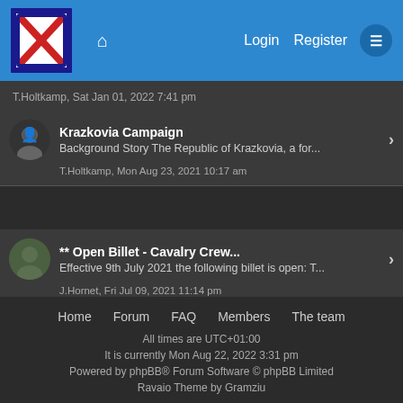Login  Register
T.Holtkamp, Sat Jan 01, 2022 7:41 pm
Krazkovia Campaign
Background Story The Republic of Krazkovia, a for...
T.Holtkamp, Mon Aug 23, 2021 10:17 am
** Open Billet - Cavalry Crew...
Effective 9th July 2021 the following billet is open: T...
J.Hornet, Fri Jul 09, 2021 11:14 pm
Home  Forum  FAQ  Members  The team
All times are UTC+01:00
It is currently Mon Aug 22, 2022 3:31 pm
Powered by phpBB® Forum Software © phpBB Limited
Ravaio Theme by Gramziu